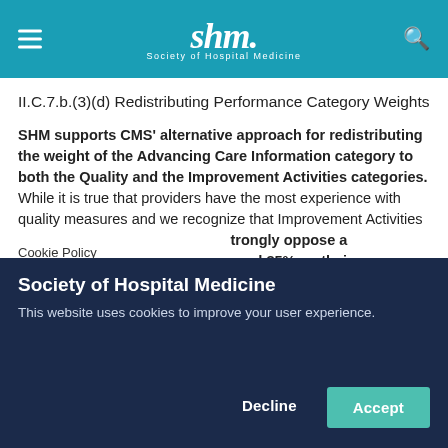shm. Society of Hospital Medicine
II.C.7.b.(3)(d) Redistributing Performance Category Weights
SHM supports CMS' alternative approach for redistributing the weight of the Advancing Care Information category to both the Quality and the Improvement Activities categories. While it is true that providers have the most experience with quality measures and we recognize that Improvement Activities is a relatively new category, we strongly oppose a hospitalist's payments being based 85% on their performance on quality measures.
Cookie Policy
Society of Hospital Medicine
This website uses cookies to improve your user experience.
Decline
Accept